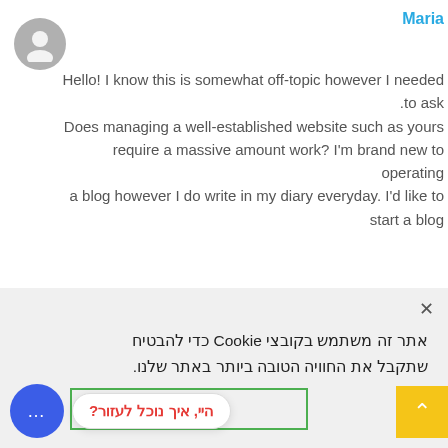Maria
Hello! I know this is somewhat off-topic however I needed to ask. Does managing a well-established website such as yours require a massive amount work? I'm brand new to operating a blog however I do write in my diary everyday. I'd like to start a blog
[Figure (screenshot): Cookie consent popup with Hebrew text, close button, green-bordered accept button, and dismiss link]
[Figure (screenshot): Chat support bubble (blue circle with three dots) with Hebrew tooltip '?היי, איך נוכל לעזור' and yellow scroll-to-top arrow button]